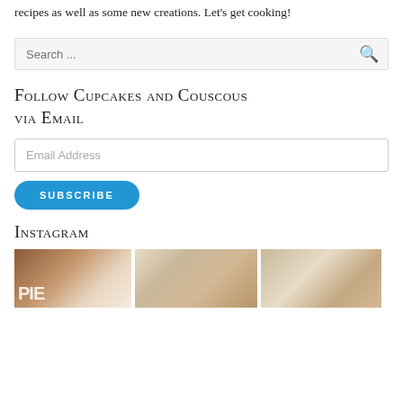recipes as well as some new creations. Let's get cooking!
[Figure (other): Search bar with placeholder text 'Search ...' and a search icon]
Follow Cupcakes and Couscous via Email
[Figure (other): Email address input field with placeholder 'Email Address']
[Figure (other): Blue rounded Subscribe button with text 'SUBSCRIBE']
Instagram
[Figure (photo): Three Instagram food photos in a row: chocolate dessert, flatbread with nuts, baked pastry/croissant]